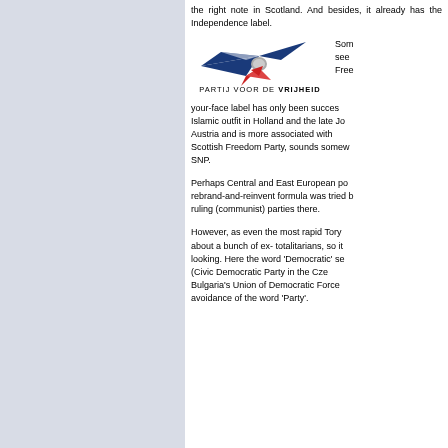the right note in Scotland. And besides, it already has the Independence label.
[Figure (logo): Partij Voor De Vrijheid (PVV) logo — stylized bird/wing shape in blue, white and red with the text PARTIJ VOOR DE VRIJHEID beneath it]
Some see the Freedom label. your-face label has only been successful for the anti-Islamic outfit in Holland and the late Jörg Haider's party in Austria and is more associated with extremism. A Scottish Freedom Party, sounds somewhat separatist like the SNP.
Perhaps Central and East European po... rebrand-and-reinvent formula was tried b... ruling (communist) parties there.
However, as even the most rapid Tory... about a bunch of ex- totalitarians, so it... looking. Here the word 'Democratic' se... (Civic Democratic Party in the Cze... Bulgaria's Union of Democratic Force... avoidance of the word 'Party'.